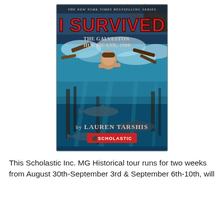[Figure (illustration): Book cover of 'I Survived: The Galveston Hurricane, 1900' by Lauren Tarshis, published by Scholastic. The cover features a dramatic scene of a boy being swept in churning flood waters with debris and sharks below, wooden structures collapsing. Text at top reads 'The New York Times Bestselling Series', large title 'I SURVIVED' in red block letters, subtitle 'The Galveston Hurricane, 1900', and author byline 'by Lauren Tarshis' with Scholastic logo at bottom.]
This Scholastic Inc. MG Historical tour runs for two weeks from August 30th-September 3rd & September 6th-10th, will